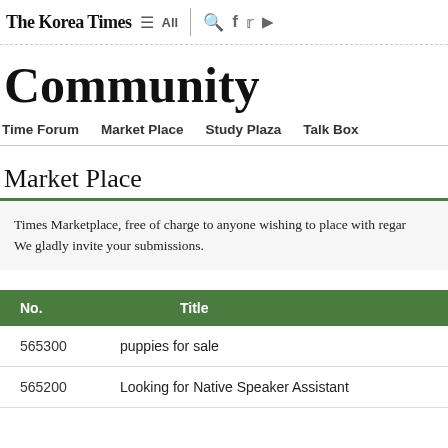The Korea Times  ≡ All  🔍  f  𝕏  ▶
Community
Time Forum   Market Place   Study Plaza   Talk Box
Market Place
Times Marketplace, free of charge to anyone wishing to place with regard. We gladly invite your submissions.
| No. | Title |
| --- | --- |
| 565300 | puppies for sale |
| 565200 | Looking for Native Speaker Assistant |